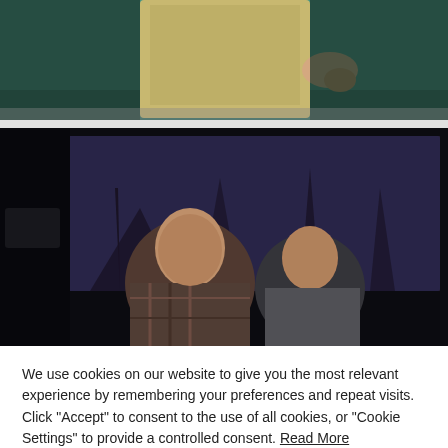[Figure (photo): Top portion of a theater stage photo showing a performer in a tan vest and period costume gesturing with hand raised, against a teal/green backdrop]
[Figure (photo): Theater stage photo showing two male actors, one in a plaid shirt in the foreground and one in a grey jacket behind, with a large projected backdrop image of dark tree silhouettes on a blue-tinted screen]
We use cookies on our website to give you the most relevant experience by remembering your preferences and repeat visits. Click "Accept" to consent to the use of all cookies, or "Cookie Settings" to provide a controlled consent. Read More
Accept All
Cookie Settings